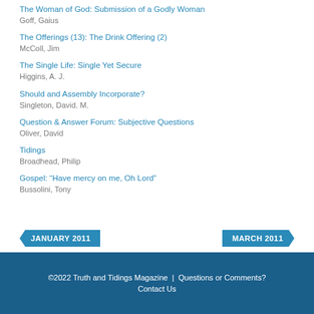The Woman of God: Submission of a Godly Woman
Goff, Gaius
The Offerings (13): The Drink Offering (2)
McColl, Jim
The Single Life: Single Yet Secure
Higgins, A. J.
Should and Assembly Incorporate?
Singleton, David. M.
Question & Answer Forum: Subjective Questions
Oliver, David
Tidings
Broadhead, Philip
Gospel: “Have mercy on me, Oh Lord”
Bussolini, Tony
JANUARY 2011
MARCH 2011
©2022 Truth and Tidings Magazine | Questions or Comments? Contact Us